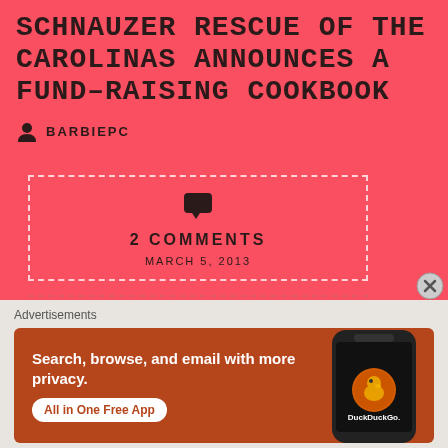SCHNAUZER RESCUE OF THE CAROLINAS ANNOUNCES A FUND-RAISING COOKBOOK
BARBIEPC
2 COMMENTS
MARCH 5, 2013
Advertisements
[Figure (screenshot): DuckDuckGo advertisement banner with orange background showing a smartphone. Text reads: Search, browse, and email with more privacy. All in One Free App. DuckDuckGo logo on phone.]